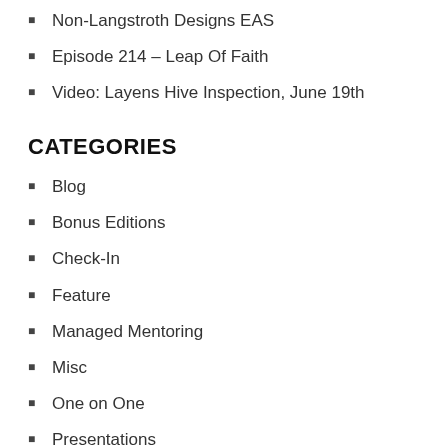Non-Langstroth Designs EAS
Episode 214 – Leap Of Faith
Video: Layens Hive Inspection, June 19th
CATEGORIES
Blog
Bonus Editions
Check-In
Feature
Managed Mentoring
Misc
One on One
Presentations
Public Outreach
Recipes
Resources